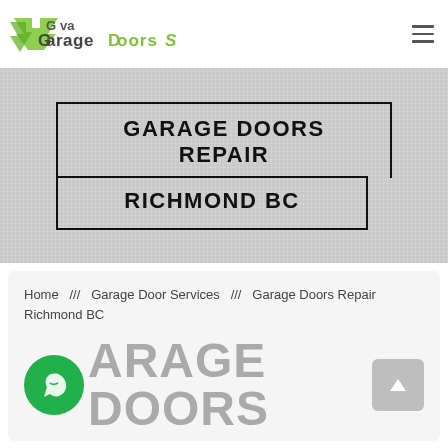[Figure (logo): Eva Garage Doors logo with green arrow and stylized text]
GARAGE DOORS REPAIR RICHMOND BC
Home  ///  Garage Door Services  ///  Garage Doors Repair Richmond BC
ARAGE DOORS